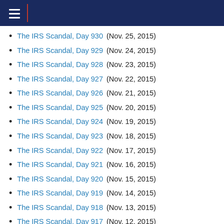Navigation header with hamburger menu
The IRS Scandal, Day 930 (Nov. 25, 2015)
The IRS Scandal, Day 929 (Nov. 24, 2015)
The IRS Scandal, Day 928 (Nov. 23, 2015)
The IRS Scandal, Day 927 (Nov. 22, 2015)
The IRS Scandal, Day 926 (Nov. 21, 2015)
The IRS Scandal, Day 925 (Nov. 20, 2015)
The IRS Scandal, Day 924 (Nov. 19, 2015)
The IRS Scandal, Day 923 (Nov. 18, 2015)
The IRS Scandal, Day 922 (Nov. 17, 2015)
The IRS Scandal, Day 921 (Nov. 16, 2015)
The IRS Scandal, Day 920 (Nov. 15, 2015)
The IRS Scandal, Day 919 (Nov. 14, 2015)
The IRS Scandal, Day 918 (Nov. 13, 2015)
The IRS Scandal, Day 917 (Nov. 12, 2015)
The IRS Scandal, Day 916 (Nov. 11, 2015)
The IRS Scandal, Day 915 (Nov. 10, 2015)
The IRS Scandal, Day 914 (Nov. 9, 2015)
The IRS Scandal, Day 913 (Nov. 8, 2015)
The IRS Scandal, Day 912 (Nov. 7, 2015)
The IRS Scandal, Day 911 (Nov. 6, 2015)
The IRS Scandal, Day 910 (Nov. 5, 2015)